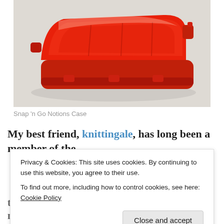[Figure (photo): A red plastic snap-close notions/organizer case photographed against a light grey/white background. The case is closed and viewed from a slightly elevated angle showing its top and side with snap latches.]
Snap 'n Go Notions Case
My best friend, knittingale, has long been a member of the
Privacy & Cookies: This site uses cookies. By continuing to use this website, you agree to their use.
To find out more, including how to control cookies, see here: Cookie Policy
the light. Recently, she decided to give her stitch markers